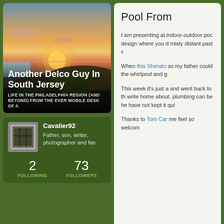[Figure (screenshot): Blog header card showing a beach sunset photo with title 'Another Delco Guy In South Jersey' and subtitle 'LIFE IN THE PHILADELPHIA REGION (AND BEYOND) FROM THE EVER MOBILE DESK OF A']
Another Delco Guy In South Jersey
LIFE IN THE PHILADELPHIA REGION (AND BEYOND) FROM THE EVER MOBILE DESK OF A
[Figure (photo): Profile avatar photo showing a window with bars]
Cavalier92
Father, son, writer, photographer and fan.
2
FOLLOWING
73
FOLLOWERS
Pool From
I am presenting at indoor-outdoor poc design where you d misty distant past c
When this Sherato so my father could the whirlpool and g
This week it's just a and went back to th write home about. plumbing can be he have not kept it qui
Thanks to Tom Car me feel so welcom